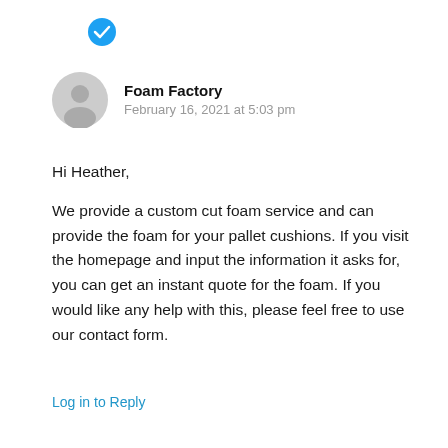[Figure (other): Blue checkmark verification icon]
[Figure (other): Gray circular avatar/profile placeholder icon]
Foam Factory
February 16, 2021 at 5:03 pm
Hi Heather,
We provide a custom cut foam service and can provide the foam for your pallet cushions. If you visit the homepage and input the information it asks for, you can get an instant quote for the foam. If you would like any help with this, please feel free to use our contact form.
Log in to Reply